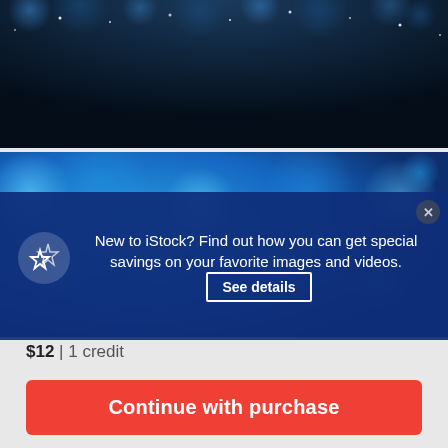[Figure (photo): Dark blue background with bokeh/sparkle light effects, top image panel]
[Figure (photo): Bright blue bokeh background, second image panel with promotional modal overlay]
New to iStock? Find out how you can get special savings on your favorite images and videos. See details
$12 | 1 credit
Continue with purchase